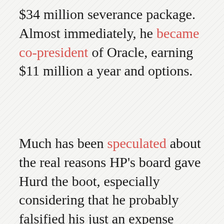$34 million severance package. Almost immediately, he became co-president of Oracle, earning $11 million a year and options.
Much has been speculated about the real reasons HP's board gave Hurd the boot, especially considering that he probably falsified his just an expense report just the once. Even then, said expenses were petty compared to the massive turnaround he had engineered at HP after walking into a very troubling situation. Hurd was famed for his no-nonsense management style and for finagling a culture of operational